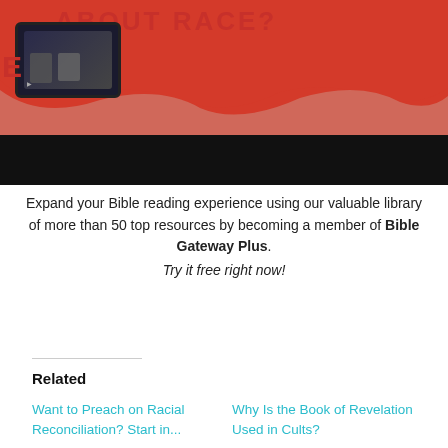[Figure (photo): Banner image with red background and text 'ABOUT RACE?' in bold red letters on cream/white textured top, with a phone thumbnail showing two people, and a black bar at the bottom]
Expand your Bible reading experience using our valuable library of more than 50 top resources by becoming a member of Bible Gateway Plus. Try it free right now!
Source link
Related
Want to Preach on Racial Reconciliation? Start in...
Why Is the Book of Revelation Used in Cults?